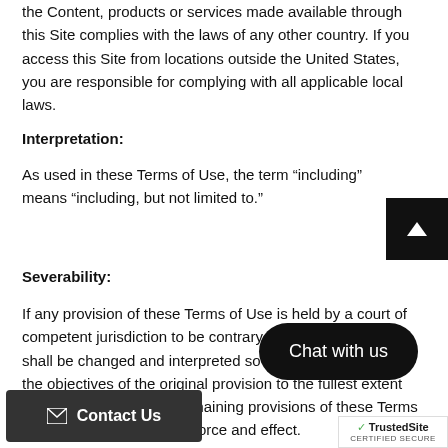the Content, products or services made available through this Site complies with the laws of any other country.  If you access this Site from locations outside the United States, you are responsible for complying with all applicable local laws.
Interpretation:
As used in these Terms of Use, the term “including” means “including, but not limited to.”
Severability:
If any provision of these Terms of Use is held by a court of competent jurisdiction to be contrary to law, such provision shall be changed and interpreted so as to best accomplish the objectives of the original provision to the fullest extent allowed by law and the remaining provisions of these Terms of Use shall remain in full force and effect.